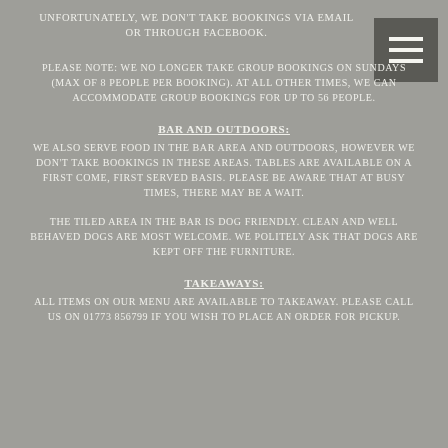Unfortunately, we don't take bookings via email or through Facebook.
[Figure (other): Hamburger menu icon button with three horizontal lines on dark grey background]
Please note: We no longer take group bookings on Sundays (Max of 8 people per booking). At all other times, we can accommodate group bookings for up to 56 people.
Bar and outdoors:
We also serve food in the bar area and outdoors, however we don't take bookings in these areas. Tables are available on a first come, first served basis. Please be aware that at busy times, there may be a wait.
The tiled area in the bar is dog friendly. Clean and well behaved dogs are most welcome. We politely ask that dogs are kept off the furniture.
Takeaways:
All items on our menu are available to takeaway. Please call us on 01773 856799 if you wish to place an order for pickup.